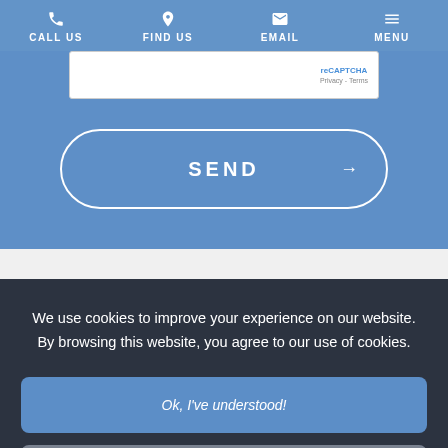CALL US  FIND US  EMAIL  MENU
[Figure (screenshot): reCAPTCHA widget box with Privacy and Terms links]
SEND →
We use cookies to improve your experience on our website. By browsing this website, you agree to our use of cookies.
Ok, I've understood!
More Info